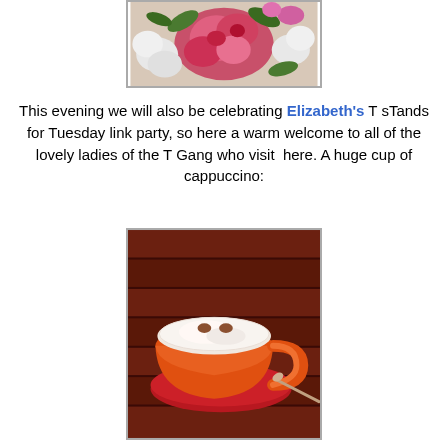[Figure (photo): A bouquet of colorful flowers including pink roses and white blossoms with green leaves on a light background.]
This evening we will also be celebrating Elizabeth's T sTands for Tuesday link party, so here a warm welcome to all of the lovely ladies of the T Gang who visit here. A huge cup of cappuccino:
[Figure (photo): A large orange ceramic cup filled with frothy cappuccino on a red saucer with a spoon, placed on a dark wooden slatted table.]